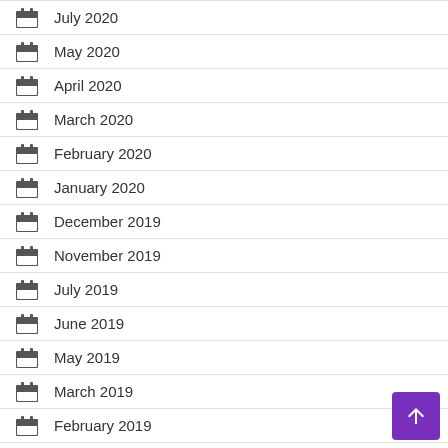July 2020
May 2020
April 2020
March 2020
February 2020
January 2020
December 2019
November 2019
July 2019
June 2019
May 2019
March 2019
February 2019